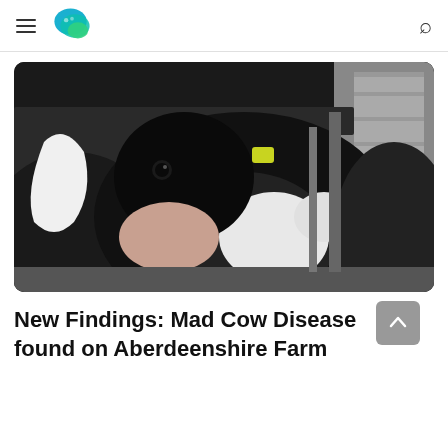[Navigation bar with hamburger menu, logo, and search icon]
[Figure (photo): Black and white dairy cows in a barn stall, one cow prominently facing camera with a yellow ear tag, inside a wooden and metal enclosure]
New Findings: Mad Cow Disease found on Aberdeenshire Farm